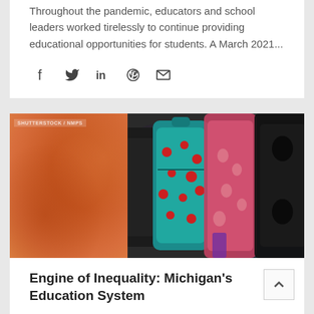Throughout the pandemic, educators and school leaders worked tirelessly to continue providing educational opportunities for students. A March 2021...
[Figure (infographic): Social media sharing icons: Facebook, Twitter, LinkedIn, Pinterest, Email]
[Figure (photo): Split image: left side shows an orange painted wall or abstract orange background; right side shows colorful children's backpacks hanging on hooks, including a teal/blue backpack with red polka dots and various other backpacks]
Engine of Inequality: Michigan's Education System